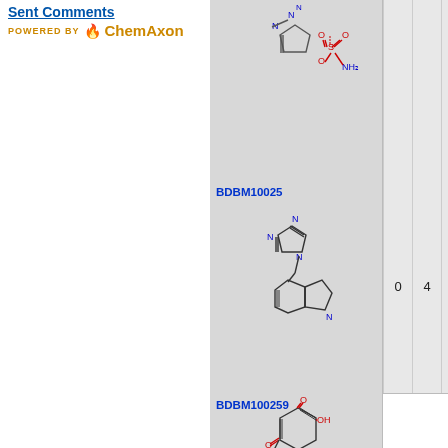Sent Comments
[Figure (logo): POWERED BY ChemAxon logo with orange flame icon and orange text]
[Figure (other): Chemical structures: triazole ring and sulfamate group (top partial row)]
[Figure (other): Chemical structure BDBM10025: imidazole linked via CH2 to tetrahydroisoquinoline ring system]
0 4 0 0
[Figure (other): Chemical structure BDBM100259: cyclohexadienone with hydroxyl and chalcone/styryl ketone substituents]
0 4 0 0